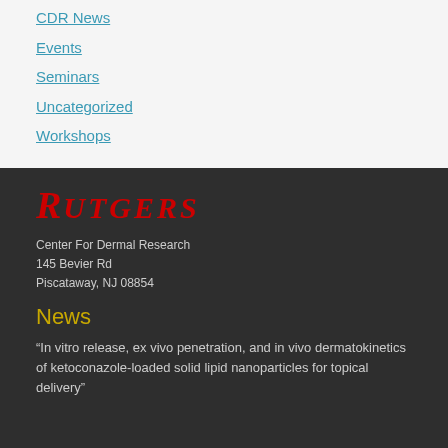CDR News
Events
Seminars
Uncategorized
Workshops
[Figure (logo): Rutgers University logo with red italic serif text reading RUTGERS]
Center For Dermal Research
145 Bevier Rd
Piscataway, NJ 08854
News
“In vitro release, ex vivo penetration, and in vivo dermatokinetics of ketoconazole-loaded solid lipid nanoparticles for topical delivery”